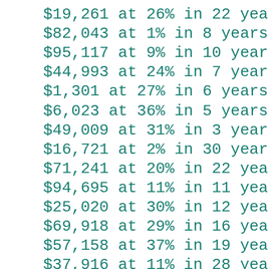$19,261 at 26% in 22 years
$82,043 at 1% in 8 years
$95,117 at 9% in 10 years
$44,993 at 24% in 7 years
$1,301 at 27% in 6 years
$6,023 at 36% in 5 years
$49,009 at 31% in 3 years
$16,721 at 2% in 30 years
$71,241 at 20% in 22 years
$94,695 at 11% in 11 years
$25,020 at 30% in 12 years
$69,918 at 29% in 16 years
$57,158 at 37% in 19 years
$37,916 at 11% in 28 years
$29,003 at 30% in 4 years
$73,665 at 4% in 7 years
$44,486 at 25% in 2 years
$15,179 at 3% in 14 years